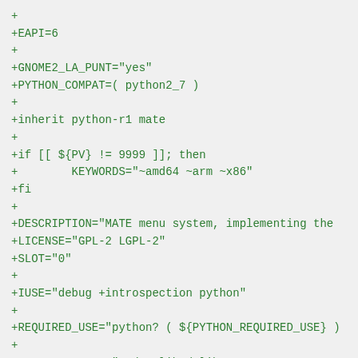+
+EAPI=6
+
+GNOME2_LA_PUNT="yes"
+PYTHON_COMPAT=( python2_7 )
+
+inherit python-r1 mate
+
+if [[ ${PV} != 9999 ]]; then
+        KEYWORDS="~amd64 ~arm ~x86"
+fi
+
+DESCRIPTION="MATE menu system, implementing the
+LICENSE="GPL-2 LGPL-2"
+SLOT="0"
+
+IUSE="debug +introspection python"
+
+REQUIRED_USE="python? ( ${PYTHON_REQUIRED_USE} )
+
+COMMON_DEPEND=">=dev-libs/glib-2.36.0:2
+		virtual/libintl:0